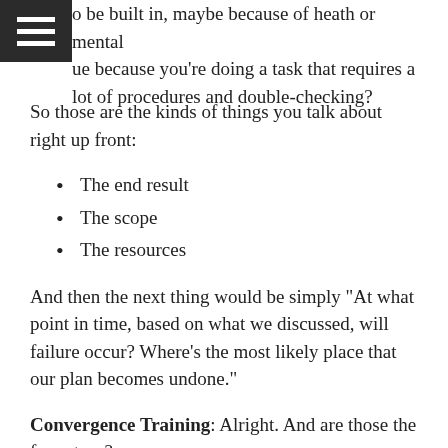o be built in, maybe because of heath or mental ue because you're doing a task that requires a lot of procedures and double-checking?
So those are the kinds of things you talk about right up front:
The end result
The scope
The resources
And then the next thing would be simply “At what point in time, based on what we discussed, will failure occur? Where’s the most likely place that our plan becomes undone.”
Convergence Training: Alright. And are those the four steps?
Joe: Yep, those are the four steps, and our fifth one becomes do we have a mitigation, defense, or control